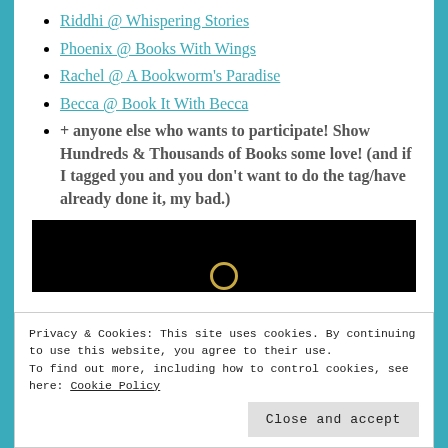Riddhi @ Whispering Stories
Phoenix @ Books With Wings
Rachel @ A Bookworm's Paradise
Becca @ Book It With Becca
+ anyone else who wants to participate! Show Hundreds & Thousands of Books some love! (and if I tagged you and you don't want to do the tag/have already done it, my bad.)
[Figure (photo): Black background image with a partial golden ring/loop shape visible at the bottom, and white cursive text partially visible at the very bottom edge.]
Privacy & Cookies: This site uses cookies. By continuing to use this website, you agree to their use.
To find out more, including how to control cookies, see here: Cookie Policy
Close and accept